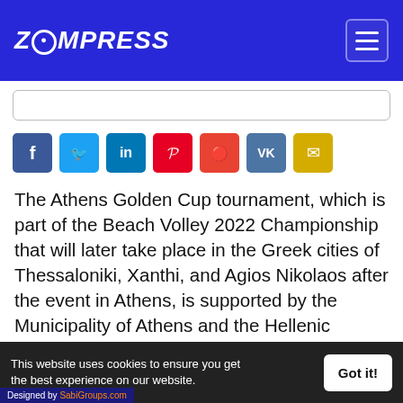ZOMPRESS
[Figure (other): Social share buttons row: Facebook (blue), Twitter (light blue), LinkedIn (dark blue), Pinterest (red), Reddit (orange-red), VK (slate blue), Email (yellow)]
The Athens Golden Cup tournament, which is part of the Beach Volley 2022 Championship that will later take place in the Greek cities of Thessaloniki, Xanthi, and Agios Nikolaos after the event in Athens, is supported by the Municipality of Athens and the Hellenic Volleyball Federation.
This is the first such major beach volleyball tournament to be held in Greece since the
This website uses cookies to ensure you get the best experience on our website.
Designed by SabiGroups.com